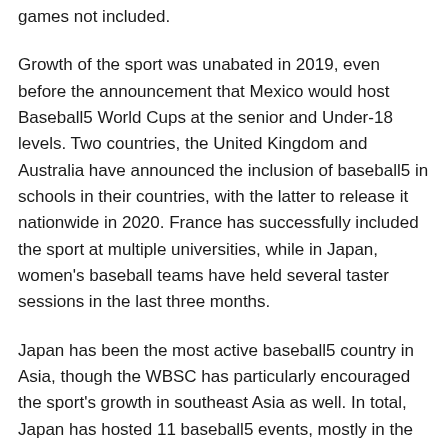games not included.
Growth of the sport was unabated in 2019, even before the announcement that Mexico would host Baseball5 World Cups at the senior and Under-18 levels. Two countries, the United Kingdom and Australia have announced the inclusion of baseball5 in schools in their countries, with the latter to release it nationwide in 2020. France has successfully included the sport at multiple universities, while in Japan, women's baseball teams have held several taster sessions in the last three months.
Japan has been the most active baseball5 country in Asia, though the WBSC has particularly encouraged the sport's growth in southeast Asia as well. In total, Japan has hosted 11 baseball5 events, mostly in the past six months. Argentina's late-2018 surge around the World Youth